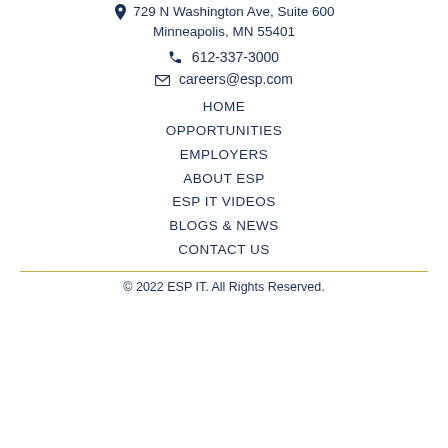729 N Washington Ave, Suite 600
Minneapolis, MN 55401
612-337-3000
careers@esp.com
HOME
OPPORTUNITIES
EMPLOYERS
ABOUT ESP
ESP IT VIDEOS
BLOGS & NEWS
CONTACT US
© 2022 ESP IT. All Rights Reserved.